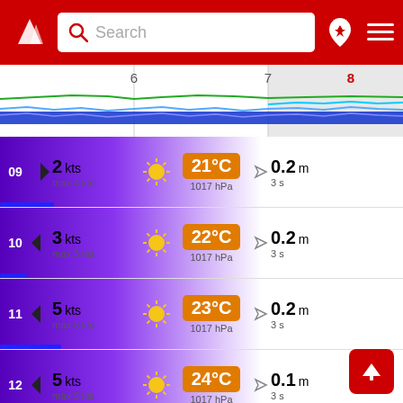[Figure (screenshot): App header with red background, wind logo, search bar, location pin icon, and hamburger menu]
[Figure (continuous-plot): Timeline chart strip showing days 6, 7, 8 with wave height lines in blue and green on white/gray background]
09  ► 2 kts  max 4 kts  ☀  21°C  1017 hPa  ◁ 0.2 m  3 s
10  ◄ 3 kts  max 3 kts  ☀  22°C  1017 hPa  ◁ 0.2 m  3 s
11  ◄ 5 kts  max 5 kts  ☀  23°C  1017 hPa  ◁ 0.2 m  3 s
12  ◄ 5 kts  max 5 kts  ☀  24°C  1017 hPa  ◁ 0.1 m  3 s
13  ► 5 kts  max 5 kts  ☀  24°C  1017 hPa  ◁ 0.1 m  3 s